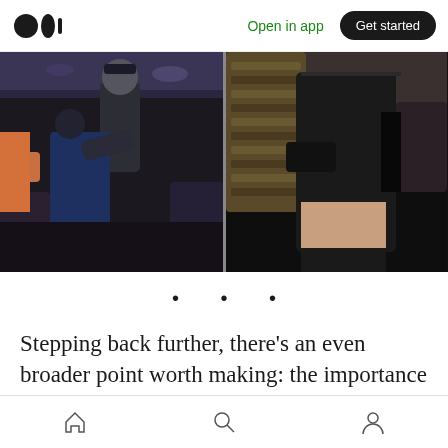Medium logo | Open in app | Get started
[Figure (photo): Two side-by-side video stills showing a passenger being forcibly removed from an airplane. Left image: security personnel grabbing a passenger in the airplane aisle. Right image: close-up of a person being dragged along airplane seats showing exposed midsection.]
• • •
Stepping back further, there's an even broader point worth making: the importance of an objective function. Or, put differently: what
Home | Search | Profile